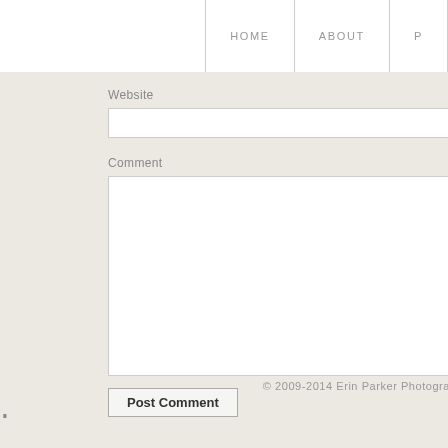HOME  ABOUT  P
Website
Comment
Post Comment
© 2009-2014 Erin Parker Photogra